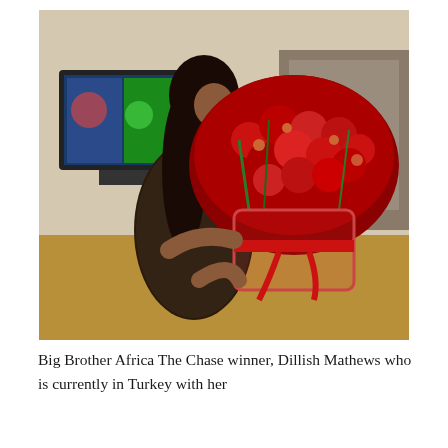[Figure (photo): A woman in a dark sequined dress holding a very large bouquet of red roses in a clear vase with red ribbon, standing in a room with a TV and furniture visible in the background.]
Big Brother Africa The Chase winner, Dillish Mathews who is currently in Turkey with her